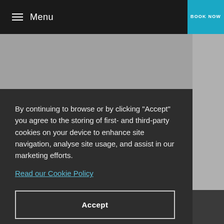Menu | BOOK NOW
[Figure (photo): Gray background photo area representing a hotel or travel website hero image, partially obscured by cookie consent dialog]
Second opinion from a Swiss specialist
By continuing to browse or by clicking "Accept" you agree to the storing of first- and third-party cookies on your device to enhance site navigation, analyse site usage, and assist in our marketing efforts.
Read our Cookie Policy
Accept
[icons: gift, phone, email, location]